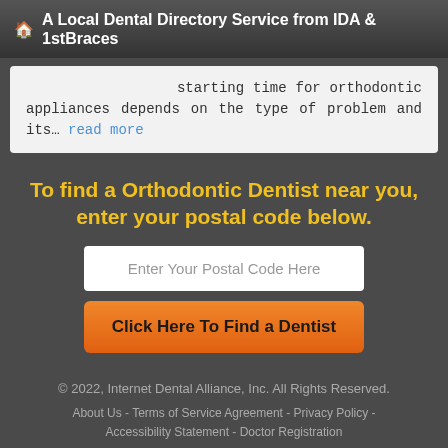A Local Dental Directory Service from IDA & 1stBraces
starting time for orthodontic appliances depends on the type of problem and its… read more
To find a Orthodontic Dentist near you, enter your postal code below.
Enter Your Postal Code Here
Click Here To Find a Dentist
© 2022, Internet Dental Alliance, Inc. All Rights Reserved. About Us - Terms of Service Agreement - Privacy Policy - Accessibility Statement - Doctor Registration